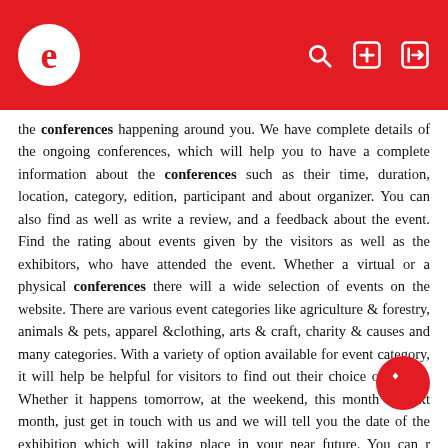e [logo] [search] [add] [login]
the conferences happening around you. We have complete details of the ongoing conferences, which will help you to have a complete information about the conferences such as their time, duration, location, category, edition, participant and about organizer. You can also find as well as write a review, and a feedback about the event. Find the rating about events given by the visitors as well as the exhibitors, who have attended the event. Whether a virtual or a physical conferences there will a wide selection of events on the website. There are various event categories like agriculture & forestry, animals & pets, apparel &clothing, arts & craft, charity & causes and many categories. With a variety of option available for event category, it will help be helpful for visitors to find out their choice of events. Whether it happens tomorrow, at the weekend, this month or next month, just get in touch with us and we will tell you the date of the exhibition which will taking place in your near future. You can r yourself on Event Always and get notified about the events which will take place in near future. Our motive to is help